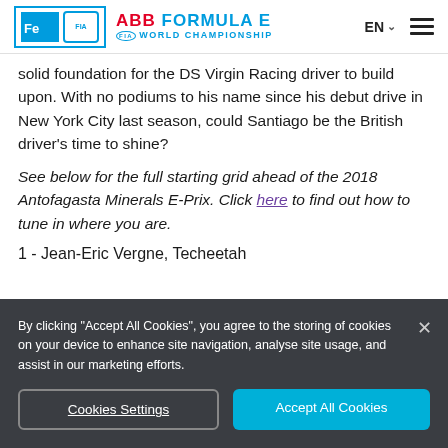ABB FORMULA E FIA WORLD CHAMPIONSHIP | EN | menu
solid foundation for the DS Virgin Racing driver to build upon. With no podiums to his name since his debut drive in New York City last season, could Santiago be the British driver's time to shine?
See below for the full starting grid ahead of the 2018 Antofagasta Minerals E-Prix. Click here to find out how to tune in where you are.
1 - Jean-Eric Vergne, Techeetah
By clicking "Accept All Cookies", you agree to the storing of cookies on your device to enhance site navigation, analyse site usage, and assist in our marketing efforts.